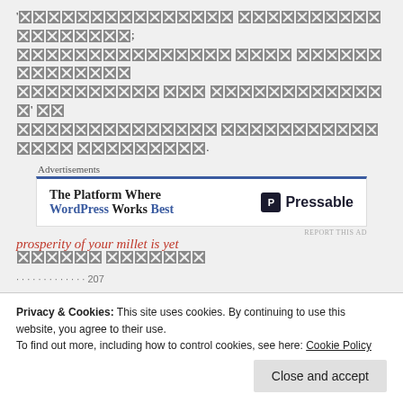'XXXXXXXXXXXXXXX XXXXXXXXXXXXXXXXXX; XXXXXXXXXXXXXXX XXXX XXXXXXXXXXXXXX:XXXX XXXXXXXXXX XXX XXXXXXXXXXXXX' XX XXXXXXXXXXXXXX XXXXXXXXXXXXXXXXX:XXXX XXXXXXXXX.
[Figure (other): Advertisement banner: 'The Platform Where WordPress Works Best' with Pressable logo]
XXXXXX XXXXXXX
Privacy & Cookies: This site uses cookies. By continuing to use this website, you agree to their use.
To find out more, including how to control cookies, see here: Cookie Policy
prosperity of your millet is yet